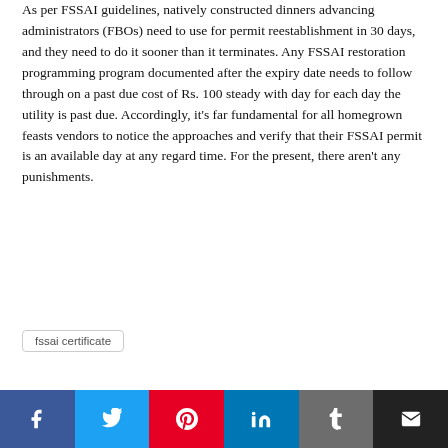As per FSSAI guidelines, natively constructed dinners advancing administrators (FBOs) need to use for permit reestablishment in 30 days, and they need to do it sooner than it terminates. Any FSSAI restoration programming program documented after the expiry date needs to follow through on a past due cost of Rs. 100 steady with day for each day the utility is past due. Accordingly, it's far fundamental for all homegrown feasts vendors to notice the approaches and verify that their FSSAI permit is an available day at any regard time. For the present, there aren't any punishments.
fssai certificate
Social share buttons: Facebook, Twitter, Pinterest, LinkedIn, Tumblr, Email